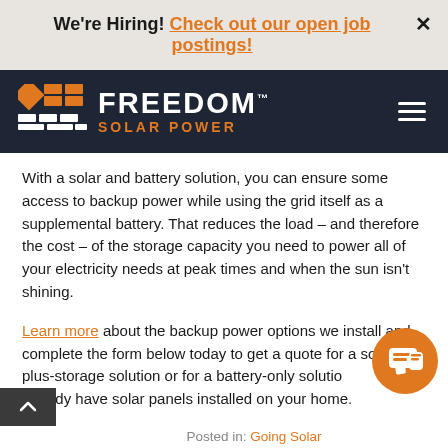We're Hiring! Check out our open job postings!
[Figure (logo): Freedom Solar Power logo — orange geometric grid icon with FREEDOM™ in white bold and SOLAR POWER in orange on dark navy background]
With a solar and battery solution, you can ensure some access to backup power while using the grid itself as a supplemental battery. That reduces the load – and therefore the cost – of the storage capacity you need to power all of your electricity needs at peak times and when the sun isn't shining.
Learn more about the backup power options we install and complete the form below today to get a quote for a solar-plus-storage solution or for a battery-only solution if you already have solar panels installed on your home.
Posted in: Going Solar